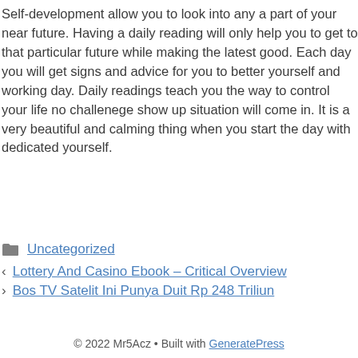Self-development allow you to look into any a part of your near future. Having a daily reading will only help you to get to that particular future while making the latest good. Each day you will get signs and advice for you to better yourself and working day. Daily readings teach you the way to control your life no challenege show up situation will come in. It is a very beautiful and calming thing when you start the day with dedicated yourself.
Uncategorized
Lottery And Casino Ebook – Critical Overview
Bos TV Satelit Ini Punya Duit Rp 248 Triliun
© 2022 Mr5Acz • Built with GeneratePress